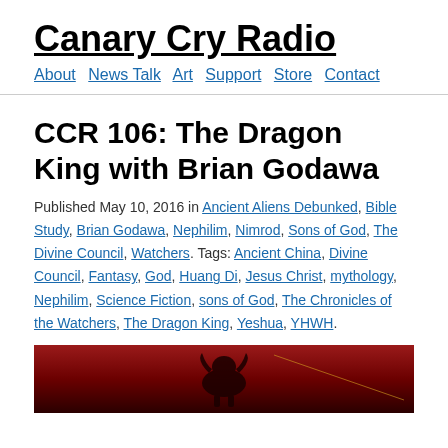Canary Cry Radio
About  News Talk  Art  Support  Store  Contact
CCR 106: The Dragon King with Brian Godawa
Published May 10, 2016 in Ancient Aliens Debunked, Bible Study, Brian Godawa, Nephilim, Nimrod, Sons of God, The Divine Council, Watchers. Tags: Ancient China, Divine Council, Fantasy, God, Huang Di, Jesus Christ, mythology, Nephilim, Science Fiction, sons of God, The Chronicles of the Watchers, The Dragon King, Yeshua, YHWH.
[Figure (photo): Red background image with dragon silhouette, bottom portion of the page]